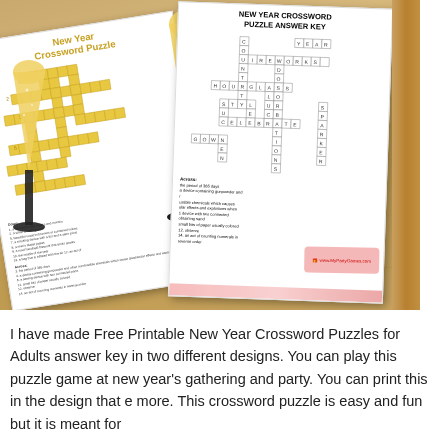[Figure (photo): Two overlapping printed pages showing a New Year Crossword Puzzle and its Answer Key, displayed on a wooden background with champagne glasses. The left page shows a gold-themed crossword puzzle titled 'New Year Crossword Puzzle'. The right page shows 'NEW YEAR CROSSWORD PUZZLE ANSWER KEY' with a filled-in crossword grid and clues. A MyPartyGames.com watermark stamp is visible.]
I have made Free Printable New Year Crossword Puzzles for Adults answer key in two different designs. You can play this puzzle game at new year's gathering and party. You can print this in the design that e more. This crossword puzzle is easy and fun but it is meant for